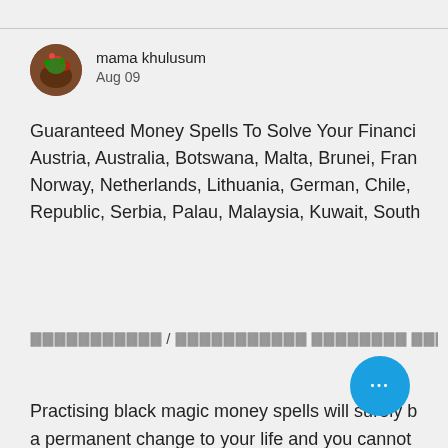[Figure (photo): Circular avatar photo of mama khulusum, showing colorful flowers/red berries]
mama khulusum
Aug 09
Guaranteed Money Spells To Solve Your Financi Austria, Australia, Botswana, Malta, Brunei, Fran Norway, Netherlands, Lithuania, German, Chile, Republic, Serbia, Palau, Malaysia, Kuwait, South
🔵🔵🔵🔵🔵🔵🔵🔵🔵🔵🔵 / 🔵🔵🔵🔵🔵🔵🔵🔵🔵🔵🔵 🔵🔵🔵🔵🔵🔵🔵🔵 🔵🔵🔵🔵🔵🔵 / 🔵🔵
Practising black magic money spells will surely b a permanent change to your life and you cannot gather all the necessary ingredients. The bay le must have a bay leaf before initiating your chant required ingredients; you will also need some b money into your life. Carrying out the sin Pick out seven banknotes, placing the je WE OFFER OUR SERVICES IN ALL COUNTRIES